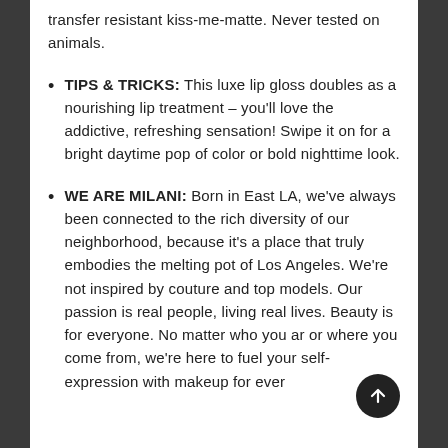transfer resistant kiss-me-matte. Never tested on animals.
TIPS & TRICKS: This luxe lip gloss doubles as a nourishing lip treatment – you'll love the addictive, refreshing sensation! Swipe it on for a bright daytime pop of color or bold nighttime look.
WE ARE MILANI: Born in East LA, we've always been connected to the rich diversity of our neighborhood, because it's a place that truly embodies the melting pot of Los Angeles. We're not inspired by couture and top models. Our passion is real people, living real lives. Beauty is for everyone. No matter who you are or where you come from, we're here to fuel your self-expression with makeup for every…